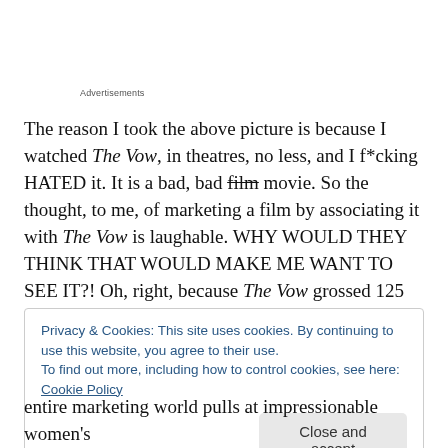Advertisements
The reason I took the above picture is because I watched The Vow, in theatres, no less, and I f*cking HATED it. It is a bad, bad film movie. So the thought, to me, of marketing a film by associating it with The Vow is laughable. WHY WOULD THEY THINK THAT WOULD MAKE ME WANT TO SEE IT?! Oh, right, because The Vow grossed 125 MILLION dollars.
Privacy & Cookies: This site uses cookies. By continuing to use this website, you agree to their use.
To find out more, including how to control cookies, see here: Cookie Policy
entire marketing world pulls at impressionable women's